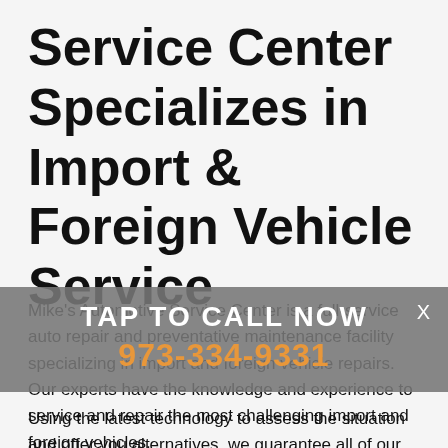Service Center Specializes in Import & Foreign Vehicle Service
Mike's Automotive Service Center is a full-service auto repair and preventative maintenance facility specializing in import and foreign vehicle repairs. Our experts have the knowledge and experience to service and repair the most challenging import and foreign vehicles.
TAP TO CALL NOW
973-334-9331
Using the latest technology to assess the situation and offer you alternatives, we guarantee all of our work and know you will be